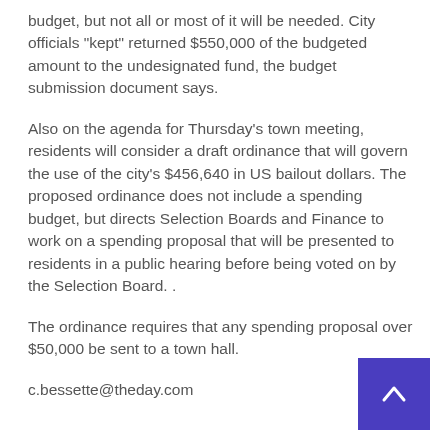budget, but not all or most of it will be needed. City officials "kept" returned $550,000 of the budgeted amount to the undesignated fund, the budget submission document says.
Also on the agenda for Thursday's town meeting, residents will consider a draft ordinance that will govern the use of the city's $456,640 in US bailout dollars. The proposed ordinance does not include a spending budget, but directs Selection Boards and Finance to work on a spending proposal that will be presented to residents in a public hearing before being voted on by the Selection Board. .
The ordinance requires that any spending proposal over $50,000 be sent to a town hall.
c.bessette@theday.com